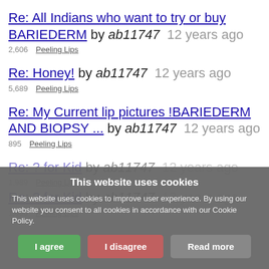Re: All Indians who want to try or buy BARIEDERM by ab11747  12 years ago
2,606  Peeling Lips
Re: Honey! by ab11747  12 years ago
5,689  Peeling Lips
Re: My Current lip pictures !BARIEDERM AND BIOPSY ... by ab11747  12 years ago
895  Peeling Lips
Re: ? for Kid by ab11747  12 years ago
1,989  Peeling Lips
Re: ? for Kid by ab11747  12 years ago
1,060  Peeling Lips
This website uses cookies
This website uses cookies to improve user experience. By using our website you consent to all cookies in accordance with our Cookie Policy.
I agree   I disagree   Read more